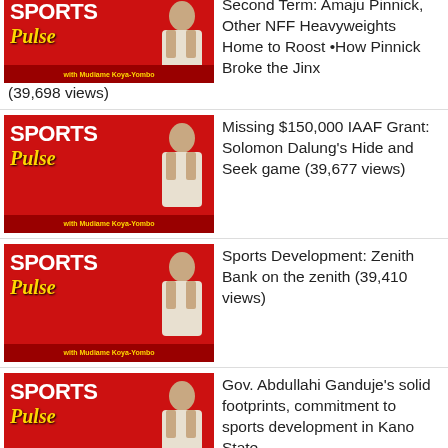Second Term: Amaju Pinnick, Other NFF Heavyweights Home to Roost •How Pinnick Broke the Jinx (39,698 views)
Missing $150,000 IAAF Grant: Solomon Dalung's Hide and Seek game (39,677 views)
Sports Development: Zenith Bank on the zenith (39,410 views)
Gov. Abdullahi Ganduje's solid footprints, commitment to sports development in Kano State (39,266 views)
Current issues in Nigerian sports: Matters arising (38,971 views)
NFF Presidency: Pinnick, Maigari, Ogunjobi, Okoye in Battle for Supremacy (38,353 views)
Olopade, BET9A wave of revolution in NNL (37,720 views)